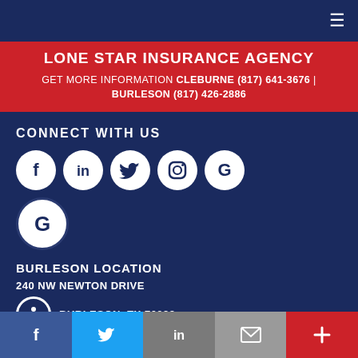Navigation bar with hamburger menu icon
LONE STAR INSURANCE AGENCY
GET MORE INFORMATION CLEBURNE (817) 641-3676 | BURLESON (817) 426-2886
CONNECT WITH US
[Figure (infographic): Social media icons in white circles on dark blue background: Facebook, LinkedIn, Twitter, Instagram, Google (row 1); Google (row 2)]
BURLESON LOCATION
240 NW NEWTON DRIVE
BURLESON, TX 76028
Bottom navigation bar with Facebook, Twitter, LinkedIn, email, and plus icons